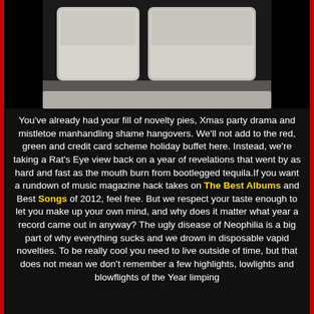[Figure (photo): Close-up photo of keyboard keys (large grey/beige keys) against a black background, cropped to show top portion of keys]
You've already had your fill of novelty pies, Xmas party drama and mistletoe manhandling shame hangovers. We'll not add to the red, green and credit card scheme holiday buffet here. Instead, we're taking a Rat's Eye view back on a year of revelations that went by as hard and fast as the mouth burn from bootlegged tequila.If you want a rundown of music magazine hack takes on The Best Albums and Best Songs of 2012, feel free. But we respect your taste enough to let you make up your own mind, and why does it matter what year a record came out in anyway? The ugly disease of Neophilia is a big part of why everything sucks and we drown in disposable vapid novelties. To be really cool you need to live outside of time, but that does not mean we don't remember a few highlights, lowlights and blowflights of the Year limping